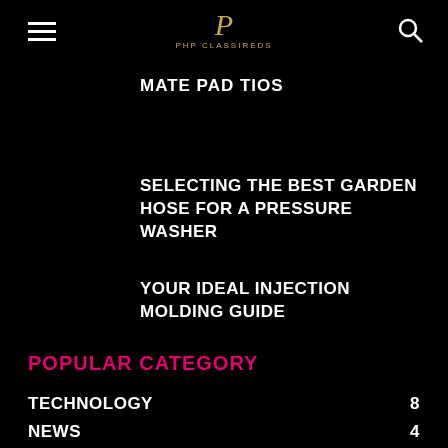PHP CLASSIREDS
MATE PAD TIOS
SELECTING THE BEST GARDEN HOSE FOR A PRESSURE WASHER
YOUR IDEAL INJECTION MOLDING GUIDE
POPULAR CATEGORY
TECHNOLOGY 8
NEWS 4